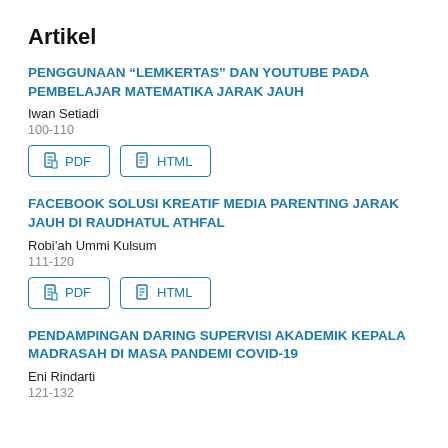Artikel
PENGGUNAAN “LEMKERTAS” DAN YOUTUBE PADA PEMBELAJAR MATEMATIKA JARAK JAUH
Iwan Setiadi
100-110
FACEBOOK SOLUSI KREATIF MEDIA PARENTING JARAK JAUH DI RAUDHATUL ATHFAL
Robi’ah Ummi Kulsum
111-120
PENDAMPINGAN DARING SUPERVISI AKADEMIK KEPALA MADRASAH DI MASA PANDEMI COVID-19
Eni Rindarti
121-132